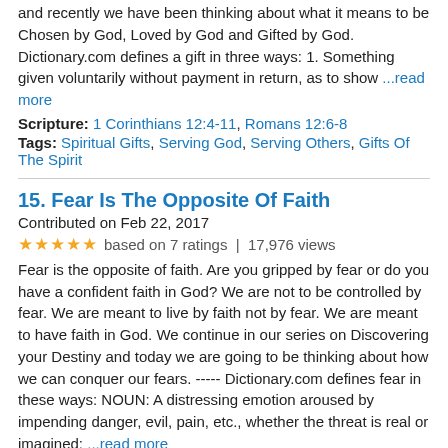and recently we have been thinking about what it means to be Chosen by God, Loved by God and Gifted by God. Dictionary.com defines a gift in three ways: 1. Something given voluntarily without payment in return, as to show ...read more
Scripture: 1 Corinthians 12:4-11, Romans 12:6-8
Tags: Spiritual Gifts, Serving God, Serving Others, Gifts Of The Spirit
15. Fear Is The Opposite Of Faith
Contributed on Feb 22, 2017
★★★★★ based on 7 ratings | 17,976 views
Fear is the opposite of faith. Are you gripped by fear or do you have a confident faith in God? We are not to be controlled by fear. We are meant to live by faith not by fear. We are meant to have faith in God. We continue in our series on Discovering your Destiny and today we are going to be thinking about how we can conquer our fears. ----- Dictionary.com defines fear in these ways: NOUN: A distressing emotion aroused by impending danger, evil, pain, etc., whether the threat is real or imagined; ...read more
Scripture: 2 Timothy 1:7-8, Exodus 14:14
Tags: Faith, Fear, Love Of God, Spirit Of Power